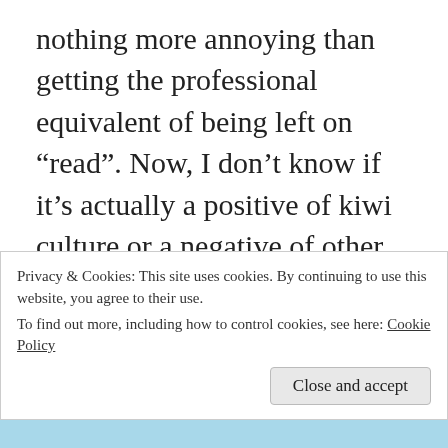nothing more annoying than getting the professional equivalent of being left on “read”. Now, I don’t know if it’s actually a positive of kiwi culture or a negative of other places I’ve gone job-searching, but I’ve already gotten a number of responses—positive and negative—to applications I’ve sent in. Obviously, getting rejected is never fun, but it’s so much nicer to know one way or another rather than wondering whether maybe you’re the ideal candidate but your application accidentally
Privacy & Cookies: This site uses cookies. By continuing to use this website, you agree to their use.
To find out more, including how to control cookies, see here: Cookie Policy
Close and accept